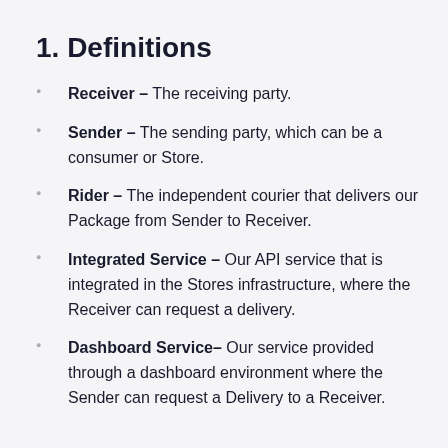1. Definitions
Receiver – The receiving party.
Sender – The sending party, which can be a consumer or Store.
Rider – The independent courier that delivers our Package from Sender to Receiver.
Integrated Service – Our API service that is integrated in the Stores infrastructure, where the Receiver can request a delivery.
Dashboard Service– Our service provided through a dashboard environment where the Sender can request a Delivery to a Receiver.